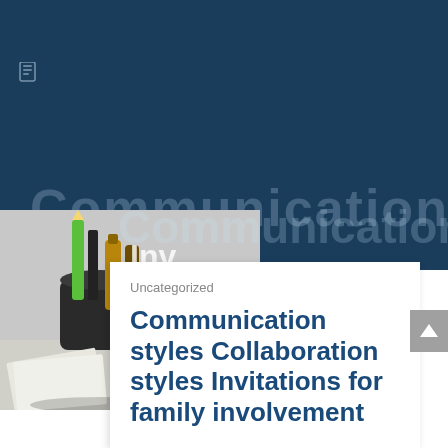[Figure (photo): Dark blue background header area with faint large text watermark reading 'Communication' and a small document icon in the upper left. Below, a photo of art/craft tools including pencils and bottles in a holder, partially visible on the left side of the page.]
Uncategorized
Communication styles Collaboration styles Invitations for family involvement